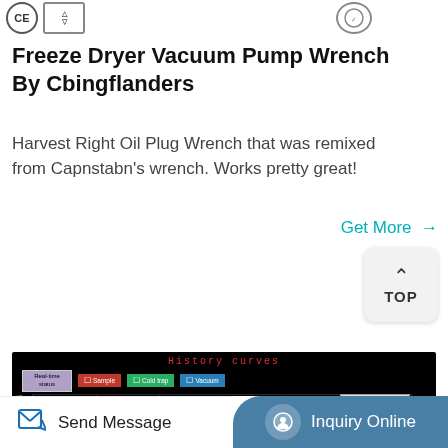[Figure (logo): CE mark logo and another certification logo on the top left; circular logo on top right]
Freeze Dryer Vacuum Pump Wrench By Cbingflanders
Harvest Right Oil Plug Wrench that was remixed from Capnstabn's wrench. Works pretty great!
Get More →
[Figure (screenshot): TOP button with caret/arrow pointing up]
[Figure (screenshot): History curves chart interface showing Sample, Cold trap, and Vacuum channels with grid, file selector 20130723.txt, and control buttons on black background]
Send Message   Inquiry Online